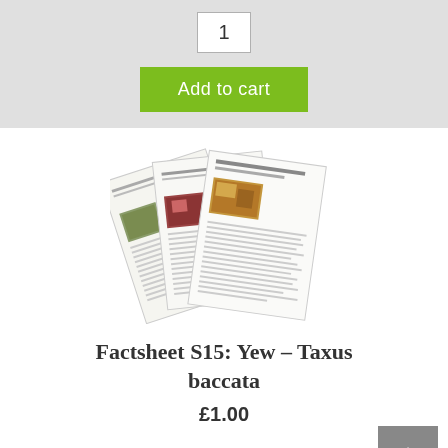[Figure (screenshot): Quantity input box showing '1' and a green 'Add to cart' button on a grey background]
[Figure (photo): Three overlapping factsheet pages fanned out, each showing plant photos and text]
Factsheet S15: Yew – Taxus baccata
£1.00